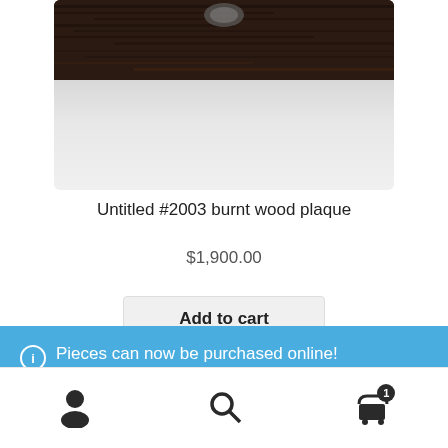[Figure (photo): Product photo of burnt wood plaque artwork - dark wood texture on top fading to light grey/silver at bottom]
Untitled #2003 burnt wood plaque
$1,900.00
Add to cart
Pieces can now be purchased online!
Dismiss